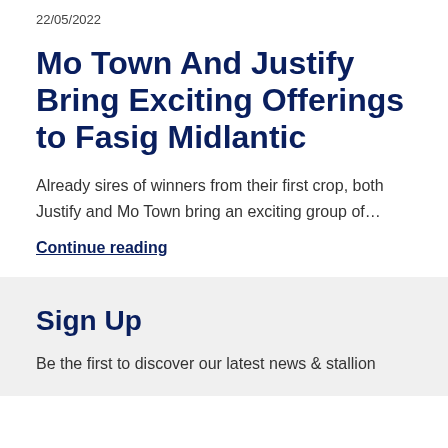22/05/2022
Mo Town And Justify Bring Exciting Offerings to Fasig Midlantic
Already sires of winners from their first crop, both Justify and Mo Town bring an exciting group of…
Continue reading
Sign Up
Be the first to discover our latest news & stallion